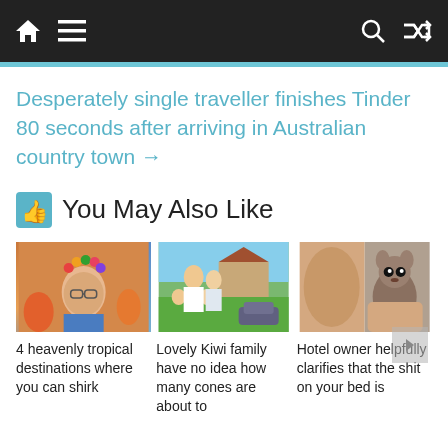Navigation bar with home, menu, search, and shuffle icons
Desperately single traveller finishes Tinder 80 seconds after arriving in Australian country town →
👍 You May Also Like
[Figure (photo): Thumbnail image of a person with a flower crown]
4 heavenly tropical destinations where you can shirk
[Figure (photo): Thumbnail image of a Kiwi family smiling outdoors in front of a house]
Lovely Kiwi family have no idea how many cones are about to
[Figure (photo): Thumbnail image showing a small animal (mouse/marsupial) being held]
Hotel owner helpfully clarifies that the shit on your bed is